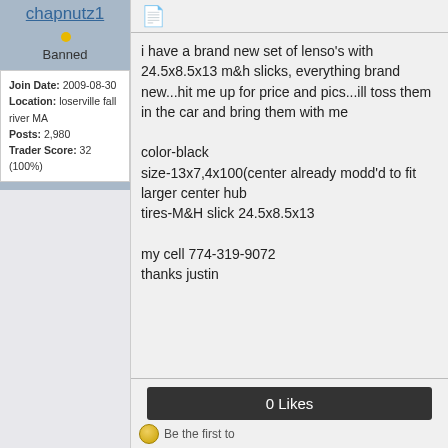chapnutz1
Banned
Join Date: 2009-08-30
Location: loserville fall river MA
Posts: 2,980
Trader Score: 32 (100%)
i have a brand new set of lenso's with 24.5x8.5x13 m&h slicks, everything brand new...hit me up for price and pics...ill toss them in the car and bring them with me

color-black
size-13x7,4x100(center already modd'd to fit larger center hub
tires-M&H slick 24.5x8.5x13

my cell 774-319-9072
thanks justin
0 Likes
Be the first to